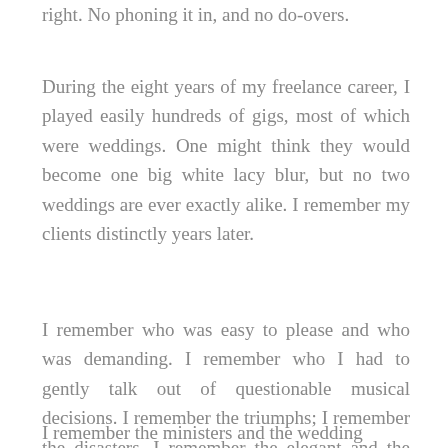right. No phoning it in, and no do-overs.
During the eight years of my freelance career, I played easily hundreds of gigs, most of which were weddings. One might think they would become one big white lacy blur, but no two weddings are ever exactly alike. I remember my clients distinctly years later.
I remember who was easy to please and who was demanding. I remember who I had to gently talk out of questionable musical decisions. I remember the triumphs; I remember the disasters. I remember the elegant and the rustic, the elaborate and the simple.
I remember the ministers and the wedding